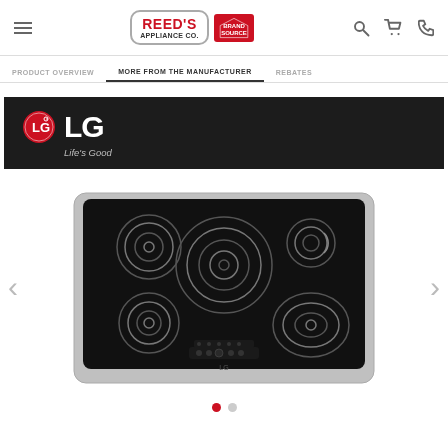Reed's Appliance Co. BrandSource header with navigation icons
PRODUCT OVERVIEW | MORE FROM THE MANUFACTURER | REBATES
[Figure (logo): LG logo with Life's Good tagline on dark background banner]
[Figure (photo): LG electric cooktop with 5 burners, black glass surface with stainless steel trim, touch controls visible at front]
Carousel navigation dots